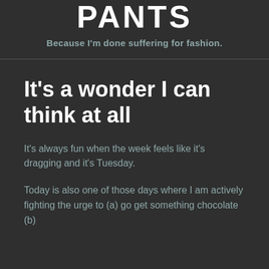PANTS
Because I'm done suffering for fashion.
It's a wonder I can think at all
It's always fun when the week feels like it's dragging and it's Tuesday.
Today is also one of those days where I am actively fighting the urge to (a) go get something chocolate (b)